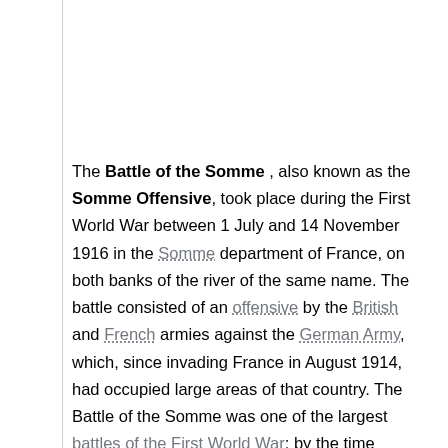The Battle of the Somme , also known as the Somme Offensive, took place during the First World War between 1 July and 14 November 1916 in the Somme department of France, on both banks of the river of the same name. The battle consisted of an offensive by the British and French armies against the German Army, which, since invading France in August 1914, had occupied large areas of that country. The Battle of the Somme was one of the largest battles of the First World War; by the time fighting had petered out in late autumn 1916